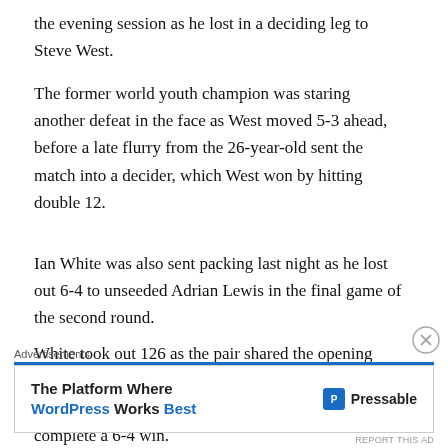the evening session as he lost in a deciding leg to Steve West.
The former world youth champion was staring another defeat in the face as West moved 5-3 ahead, before a late flurry from the 26-year-old sent the match into a decider, which West won by hitting double 12.
Ian White was also sent packing last night as he lost out 6-4 to unseeded Adrian Lewis in the final game of the second round.
White took out 126 as the pair shared the opening eight legs, before Lewis then broke at the crucial time to take the lead and held throw in the 10th leg to complete a 6-4 win.
[Figure (other): Advertisement banner: 'The Platform Where WordPress Works Best' — Pressable logo]